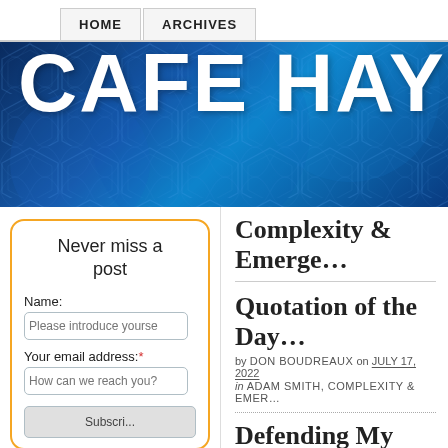HOME | ARCHIVES
[Figure (illustration): Cafe Hayek website banner with blue hexagonal circuit board pattern background and white bold text reading CAFE HAY (truncated)]
Never miss a post
Name: [Please introduce yourself] Your email address:* [How can we reach you?] [Subscribe]
Complexity & Emerge...
Quotation of the Day...
by DON BOUDREAUX on JULY 17, 2022 in ADAM SMITH, COMPLEXITY & EMER...
Defending My Drivel
by DON BOUDREAUX on JULY 9, 2022